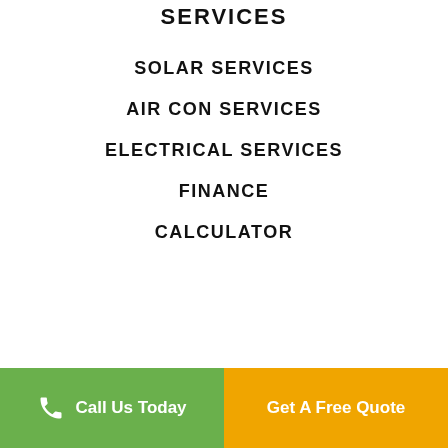SERVICES
SOLAR SERVICES
AIR CON SERVICES
ELECTRICAL SERVICES
FINANCE
CALCULATOR
Call Us Today | Get A Free Quote